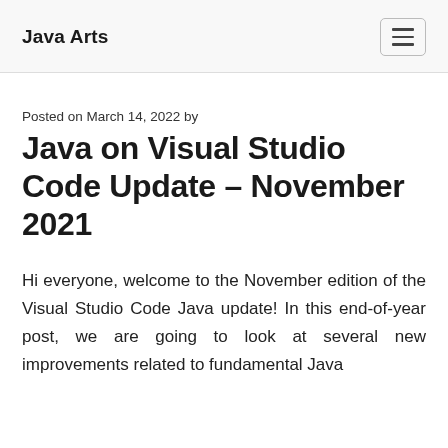Java Arts
Posted on March 14, 2022 by
Java on Visual Studio Code Update – November 2021
Hi everyone, welcome to the November edition of the Visual Studio Code Java update! In this end-of-year post, we are going to look at several new improvements related to fundamental Java